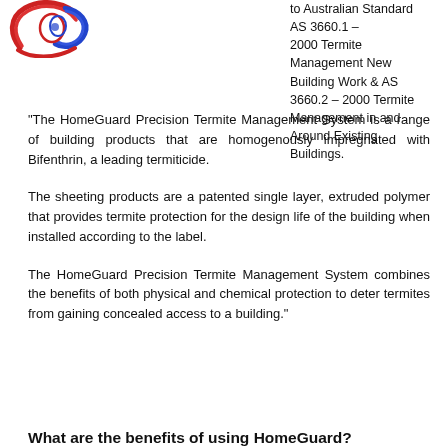[Figure (logo): HomeGuard logo with red and blue swirl/spiral design]
to Australian Standard AS 3660.1 – 2000 Termite Management New Building Work & AS 3660.2 – 2000 Termite Management in and Around Existing Buildings.
“The HomeGuard Precision Termite Management System is a range of building products that are homogenously impregnated with Bifenthrin, a leading termiticide.
The sheeting products are a patented single layer, extruded polymer that provides termite protection for the design life of the building when installed according to the label.
The HomeGuard Precision Termite Management System combines the benefits of both physical and chemical protection to deter termites from gaining concealed access to a building.”
What are the benefits of using HomeGuard?